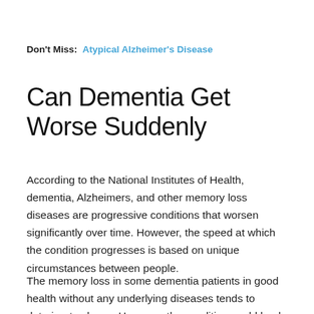Don't Miss:  Atypical Alzheimer's Disease
Can Dementia Get Worse Suddenly
According to the National Institutes of Health, dementia, Alzheimers, and other memory loss diseases are progressive conditions that worsen significantly over time. However, the speed at which the condition progresses is based on unique circumstances between people.
The memory loss in some dementia patients in good health without any underlying diseases tends to deteriorate slower. However, the condition could lead to significant...